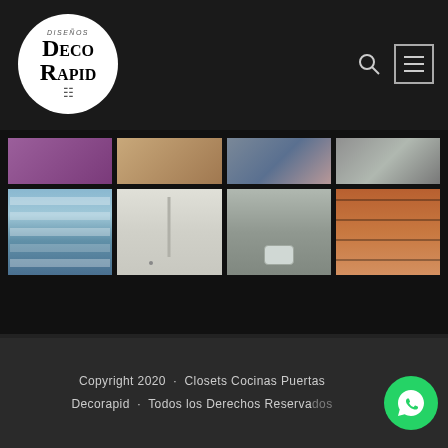[Figure (logo): Diseños Deco Rapid logo — white circle with black text showing DISEÑOS above DECO and RAPID in large bold letters, with a door icon below]
[Figure (photo): Gallery grid of 8 interior design photos showing closets, kitchens, bathrooms, and doors in 2 rows of 4 thumbnails each. Top row is partially cropped. Bottom row shows: frosted glass partition, white wardrobe, bathroom countertop, wood shelving unit.]
Copyright 2020 · Closets Cocinas Puertas Decorapid · Todos los Derechos Reservados